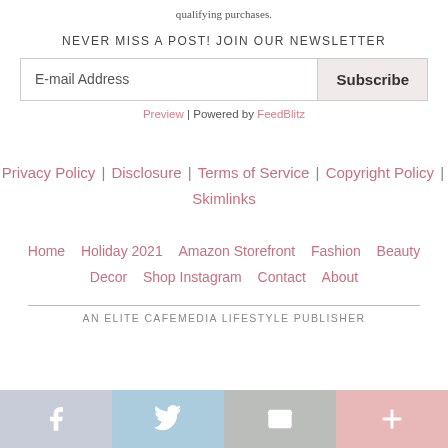qualifying purchases.
NEVER MISS A POST! JOIN OUR NEWSLETTER
E-mail Address   Subscribe
Preview | Powered by FeedBlitz
Privacy Policy | Disclosure | Terms of Service | Copyright Policy | Skimlinks
Home   Holiday 2021   Amazon Storefront   Fashion   Beauty   Decor   Shop Instagram   Contact   About
AN ELITE CAFEMEDIA LIFESTYLE PUBLISHER